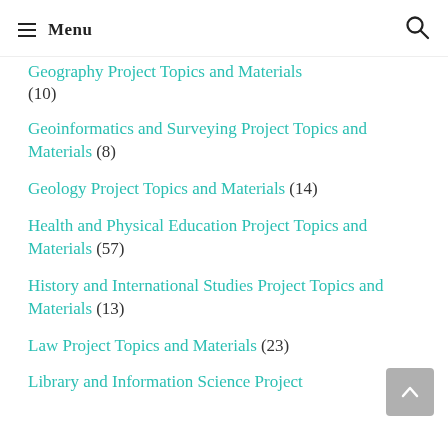Menu
Geography Project Topics and Materials (10)
Geoinformatics and Surveying Project Topics and Materials (8)
Geology Project Topics and Materials (14)
Health and Physical Education Project Topics and Materials (57)
History and International Studies Project Topics and Materials (13)
Law Project Topics and Materials (23)
Library and Information Science Project